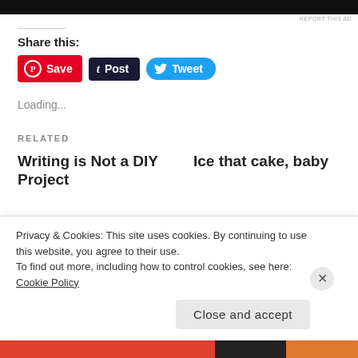[Figure (other): Dark advertisement banner at top of page]
REPORT THIS AD
Share this:
[Figure (other): Share buttons: Save (Pinterest, red), Post (Tumblr, dark navy), Tweet (Twitter, blue)]
Loading...
RELATED
Writing is Not a DIY Project
Ice that cake, baby
Privacy & Cookies: This site uses cookies. By continuing to use this website, you agree to their use.
To find out more, including how to control cookies, see here: Cookie Policy
Close and accept